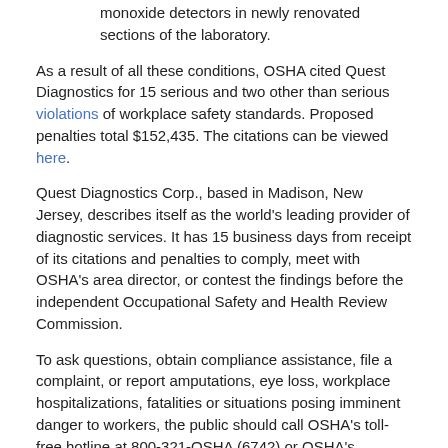monoxide detectors in newly renovated sections of the laboratory.
As a result of all these conditions, OSHA cited Quest Diagnostics for 15 serious and two other than serious violations of workplace safety standards. Proposed penalties total $152,435. The citations can be viewed here.
Quest Diagnostics Corp., based in Madison, New Jersey, describes itself as the world's leading provider of diagnostic services. It has 15 business days from receipt of its citations and penalties to comply, meet with OSHA's area director, or contest the findings before the independent Occupational Safety and Health Review Commission.
To ask questions, obtain compliance assistance, file a complaint, or report amputations, eye loss, workplace hospitalizations, fatalities or situations posing imminent danger to workers, the public should call OSHA's toll-free hotline at 800-321-OSHA (6742) or OSHA's Bridgeport Area Office at 203-579-5581.
# # #
Media Contact:
Ted Fitzgerald, 617-565-2075, fitzgerald.edmund@dol.gov